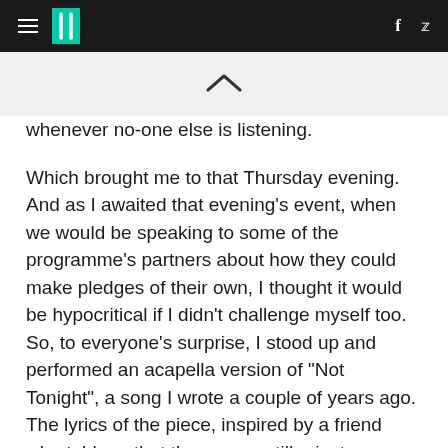≡ HuffPost f 🐦
whenever no-one else is listening.
Which brought me to that Thursday evening. And as I awaited that evening's event, when we would be speaking to some of the programme's partners about how they could make pledges of their own, I thought it would be hypocritical if I didn't challenge myself too. So, to everyone's surprise, I stood up and performed an acapella version of "Not Tonight", a song I wrote a couple of years ago. The lyrics of the piece, inspired by a friend who told me that there were still private members' clubs in the USA which Jewish people